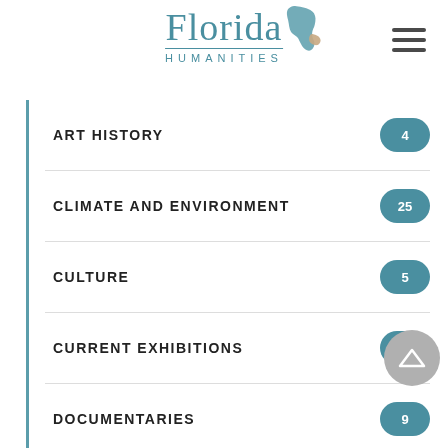[Figure (logo): Florida Humanities logo with state map outline]
ART HISTORY 4
CLIMATE AND ENVIRONMENT 25
CULTURE 5
CURRENT EXHIBITIONS 4
DOCUMENTARIES 9
FLORIDA PHOTOGRAPHY 12
FLORIDA TALKS: AT HOME! 32
FLORIDA WOMEN 2